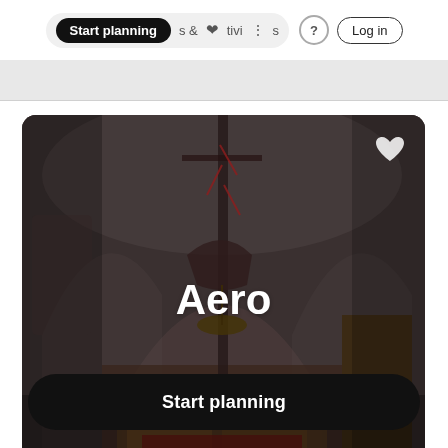Start planning  &  Activities  ?  Log in
[Figure (screenshot): Partial screenshot of a navigation bar or page above]
[Figure (photo): Interior of a church with arched ceilings, altar, chandelier, and a ship hanging from the ceiling. Text 'Aero' overlaid in white bold font. A white heart icon in the top right corner.]
Aero
Start planning